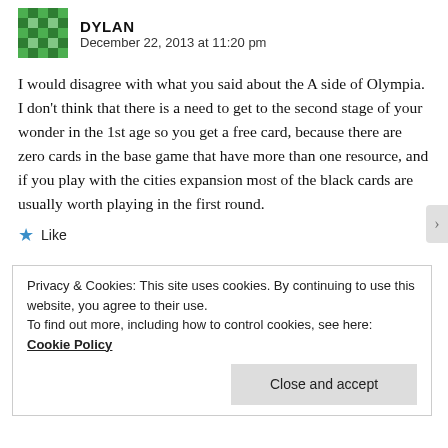DYLAN
December 22, 2013 at 11:20 pm
I would disagree with what you said about the A side of Olympia. I don't think that there is a need to get to the second stage of your wonder in the 1st age so you get a free card, because there are zero cards in the base game that have more than one resource, and if you play with the cities expansion most of the black cards are usually worth playing in the first round.
★ Like
Privacy & Cookies: This site uses cookies. By continuing to use this website, you agree to their use.
To find out more, including how to control cookies, see here: Cookie Policy
Close and accept